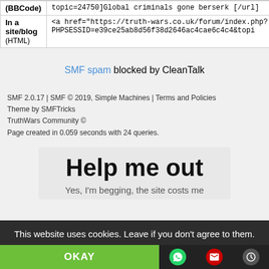| (BBCode) | topic=24750]Global criminals gone berserk [/url] |
| In a site/blog (HTML) | <a href="https://truth-wars.co.uk/forum/index.php?PHPSESSID=e39ce25ab8d56f38d2646ac4cae6c4c4&topi |
SMF spam blocked by CleanTalk
SMF 2.0.17 | SMF © 2019, Simple Machines | Terms and Policies
Theme by SMFTricks
TruthWars Community ©
Page created in 0.059 seconds with 24 queries.
[Figure (other): Help me out promotional box with text 'Help me out' and 'Yes, I'm begging, the site costs me']
This website uses cookies. Leave if you don't agree to them.
OKAY